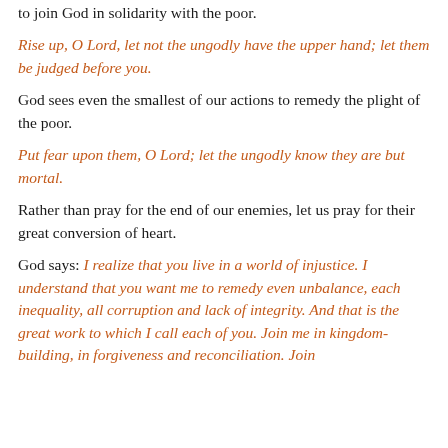to join God in solidarity with the poor.
Rise up, O Lord, let not the ungodly have the upper hand; let them be judged before you.
God sees even the smallest of our actions to remedy the plight of the poor.
Put fear upon them, O Lord; let the ungodly know they are but mortal.
Rather than pray for the end of our enemies, let us pray for their great conversion of heart.
God says: I realize that you live in a world of injustice. I understand that you want me to remedy even unbalance, each inequality, all corruption and lack of integrity. And that is the great work to which I call each of you. Join me in kingdom-building, in forgiveness and reconciliation. Join